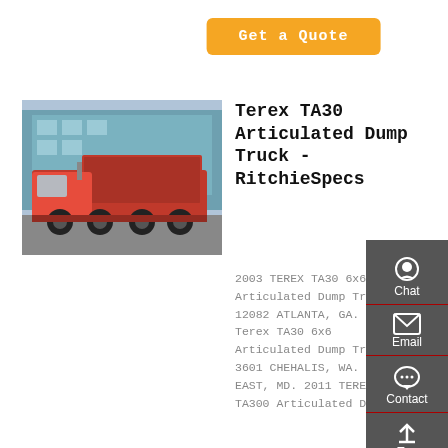Get a Quote
[Figure (photo): Red dump truck (HOWO style) parked in front of a building, side and front view, outdoor setting]
Terex TA30 Articulated Dump Truck - RitchieSpecs
2003 TEREX TA30 6x6 Articulated Dump Truck 12082 ATLANTA, GA. 1997 Terex TA30 6x6 Articulated Dump Truck 3601 CHEHALIS, WA. NORTH EAST, MD. 2011 TEREX TA300 Articulated Dump